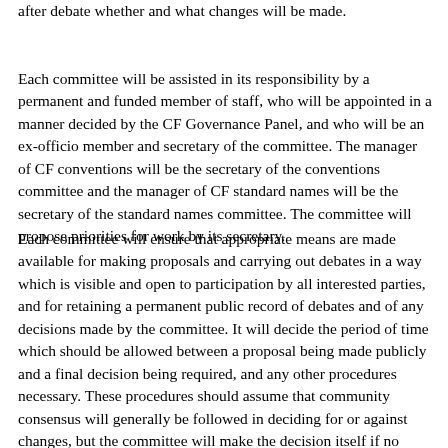after debate whether and what changes will be made.
Each committee will be assisted in its responsibility by a permanent and funded member of staff, who will be appointed in a manner decided by the CF Governance Panel, and who will be an ex-officio member and secretary of the committee. The manager of CF conventions will be the secretary of the conventions committee and the manager of CF standard names will be the secretary of the standard names committee. The committee will propose priorities for work by its secretary.
Each committee will ensure that appropriate means are made available for making proposals and carrying out debates in a way which is visible and open to participation by all interested parties, and for retaining a permanent public record of debates and of any decisions made by the committee. It will decide the period of time which should be allowed between a proposal being made publicly and a final decision being required, and any other procedures necessary. These procedures should assume that community consensus will generally be followed in deciding for or against changes, but the committee will make the decision itself if no consensus is evident or the public debate is inconclusive. The